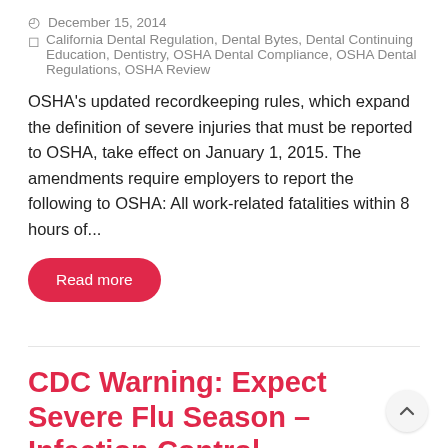December 15, 2014
California Dental Regulation, Dental Bytes, Dental Continuing Education, Dentistry, OSHA Dental Compliance, OSHA Dental Regulations, OSHA Review
OSHA's updated recordkeeping rules, which expand the definition of severe injuries that must be reported to OSHA, take effect on January 1, 2015. The amendments require employers to report the following to OSHA: All work-related fatalities within 8 hours of...
Read more
CDC Warning: Expect Severe Flu Season – Infection Control
December 11, 2014
Dental Infection Control, Dentistry, OSHA Review